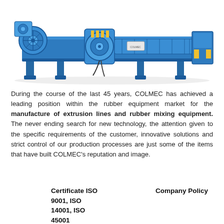[Figure (photo): Industrial rubber extrusion machine in blue color, a large horizontal piece of manufacturing equipment with rollers, cylinders, and mechanical components visible from the side.]
During the course of the last 45 years, COLMEC has achieved a leading position within the rubber equipment market for the manufacture of extrusion lines and rubber mixing equipment. The never ending search for new technology, the attention given to the specific requirements of the customer, innovative solutions and strict control of our production processes are just some of the items that have built COLMEC's reputation and image.
Certificate ISO 9001, ISO 14001, ISO 45001
Company Policy